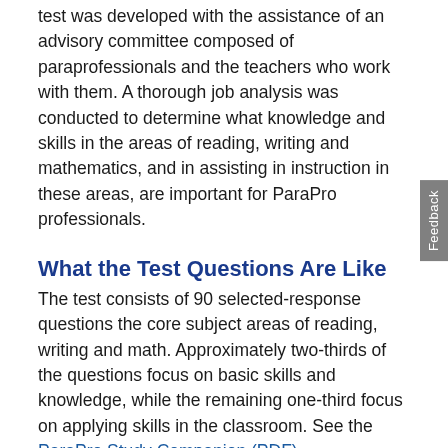test was developed with the assistance of an advisory committee composed of paraprofessionals and the teachers who work with them. A thorough job analysis was conducted to determine what knowledge and skills in the areas of reading, writing and mathematics, and in assisting in instruction in these areas, are important for ParaPro professionals.
What the Test Questions Are Like
The test consists of 90 selected-response questions the core subject areas of reading, writing and math. Approximately two-thirds of the questions focus on basic skills and knowledge, while the remaining one-third focus on applying skills in the classroom. See the ParaPro Study Companion (PDF).
How ETS Ensures Quality and Fairness